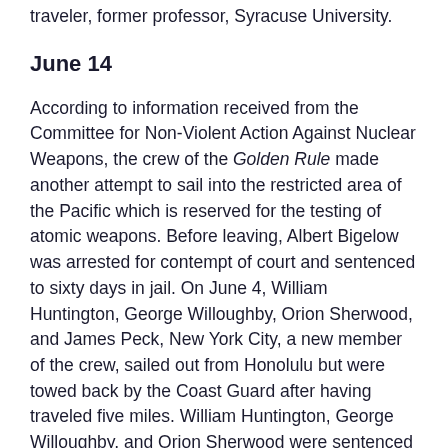traveler, former professor, Syracuse University.
June 14
According to information received from the Committee for Non-Violent Action Against Nuclear Weapons, the crew of the Golden Rule made another attempt to sail into the restricted area of the Pacific which is reserved for the testing of atomic weapons. Before leaving, Albert Bigelow was arrested for contempt of court and sentenced to sixty days in jail. On June 4, William Huntington, George Willoughby, Orion Sherwood, and James Peck, New York City, a new member of the crew, sailed out from Honolulu but were towed back by the Coast Guard after having traveled five miles. William Huntington, George Willoughby, and Orion Sherwood were sentenced to sixty days in jail, a penalty which they are now serving. James Peck, not having been involved in the earlier attempt, was